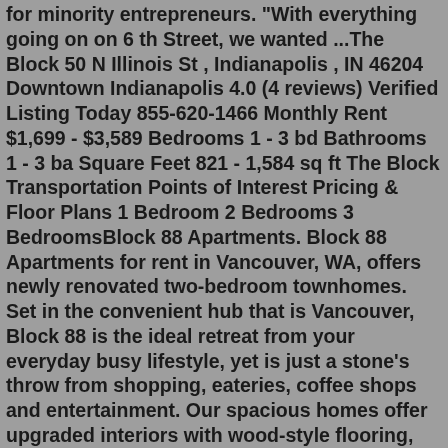for minority entrepreneurs. "With everything going on on 6 th Street, we wanted ...The Block 50 N Illinois St , Indianapolis , IN 46204 Downtown Indianapolis 4.0 (4 reviews) Verified Listing Today 855-620-1466 Monthly Rent $1,699 - $3,589 Bedrooms 1 - 3 bd Bathrooms 1 - 3 ba Square Feet 821 - 1,584 sq ft The Block Transportation Points of Interest Pricing & Floor Plans 1 Bedroom 2 Bedrooms 3 BedroomsBlock 88 Apartments. Block 88 Apartments for rent in Vancouver, WA, offers newly renovated two-bedroom townhomes. Set in the convenient hub that is Vancouver, Block 88 is the ideal retreat from your everyday busy lifestyle, yet is just a stone's throw from shopping, eateries, coffee shops and entertainment. Our spacious homes offer upgraded interiors with wood-style flooring, air ...Review submitted by a verified resident of the apartment community. Participating residents may receive reward points, regardless of the nature of the review, in exchange for posting a review during the term of